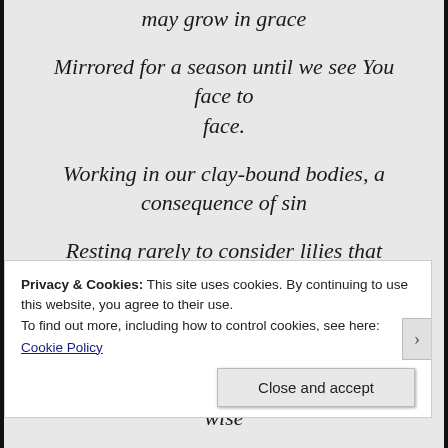may grow in grace
Mirrored for a season until we see You face to face.
Working in our clay-bound bodies, a consequence of sin
Resting rarely to consider lilies that neither toil nor spin.
The earth is far too beautiful for the worldly-wise
Privacy & Cookies: This site uses cookies. By continuing to use this website, you agree to their use.
To find out more, including how to control cookies, see here:
Cookie Policy
Close and accept